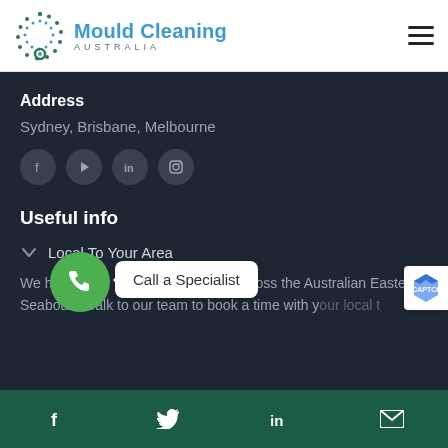[Figure (logo): Mould Cleaning Australia logo with circular dot pattern icon and teal text]
Address
Sydney, Brisbane, Melbourne
[Figure (infographic): Social media icons: Facebook, YouTube, LinkedIn, Instagram]
Useful info
Local To Your Area
We have team members based all across the Australian Eastern Seaboard. Talk to our team to book a time with your local technician.
[Figure (infographic): Green phone call button with 'Call a Specialist' tooltip]
[Figure (infographic): Footer bar with Facebook, Twitter, LinkedIn, and email icons on dark green background]